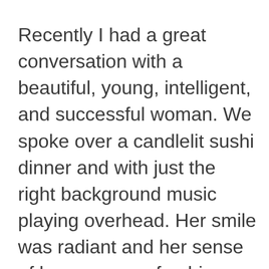Recently I had a great conversation with a beautiful, young, intelligent, and successful woman. We spoke over a candlelit sushi dinner and with just the right background music playing overhead. Her smile was radiant and her sense of humor was refreshing. She had a confidence about herself that shone through her lovely skin tone. And as we mused about our days